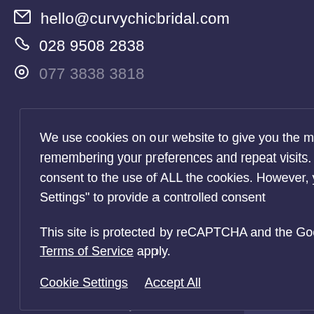hello@curvychicbridal.com
028 9508 2838
077 3838 3818 (partial/obscured)
oad Belfast (partial)
We use cookies on our website to give you the most relevant experience by remembering your preferences and repeat visits. By clicking "Accept All", you consent to the use of ALL the cookies. However, you may visit "Cookie Settings" to provide a controlled consent

This site is protected by reCAPTCHA and the Google Privacy Policy and Terms of Service apply.
Cookie Settings   Accept All